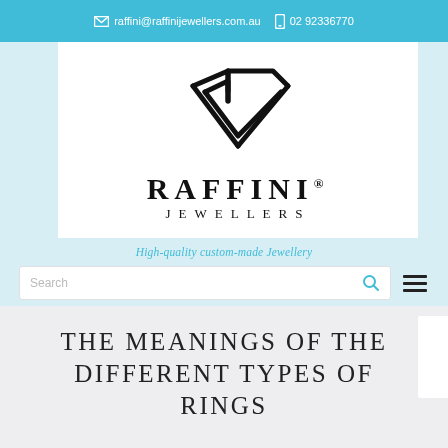raffini@raffinijewellers.com.au  02 92336770
[Figure (logo): Raffini Jewellers logo — diamond chevron shape above text 'RAFFINI JEWELLERS']
High-quality custom-made Jewellery
THE MEANINGS OF THE DIFFERENT TYPES OF RINGS